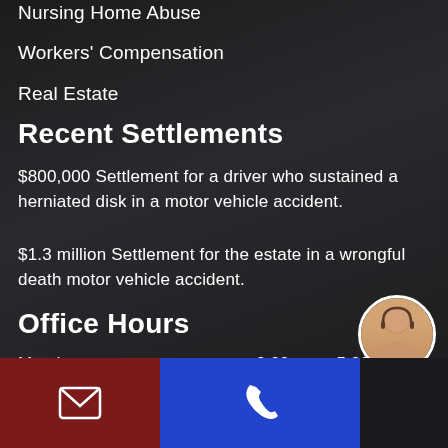Nursing Home Abuse
Workers' Compensation
Real Estate
Recent Settlements
$800,000 Settlement for a driver who sustained a herniated disk in a motor vehicle accident.
$1.3 million Settlement for the estate in a wrongful death motor vehicle accident.
Office Hours
Monday    9:00 am – 5:00 pm
Tuesday    9:00 am – 5:00 pm
[Figure (infographic): Footer bar with email icon (red background), phone icon (blue background), and chat/avatar icon (dark background)]